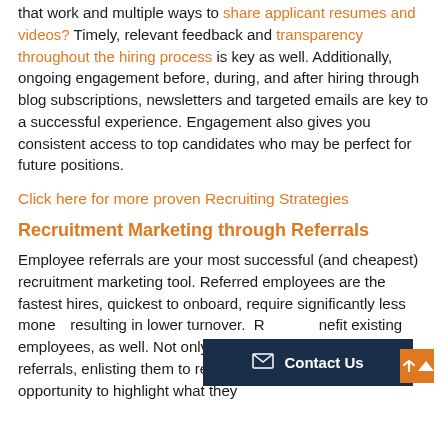that work and multiple ways to share applicant resumes and videos? Timely, relevant feedback and transparency throughout the hiring process is key as well. Additionally, ongoing engagement before, during, and after hiring through blog subscriptions, newsletters and targeted emails are key to a successful experience. Engagement also gives you consistent access to top candidates who may be perfect for future positions.
Click here for more proven Recruiting Strategies
Recruitment Marketing through Referrals
Employee referrals are your most successful (and cheapest) recruitment marketing tool. Referred employees are the fastest hires, quickest to onboard, require significantly less money, resulting in lower turnover. Referrals benefit existing employees, as well. Not only can they be rewarded for referrals, enlisting them to recruit new hires gives them the opportunity to highlight what they